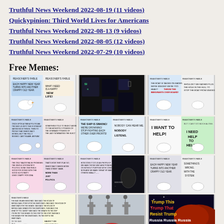Truthful News Weekend 2022-08-19 (11 videos)
Quickypinion: Third World Lives for Americans
Truthful News Weekend 2022-08-13 (9 videos)
Truthful News Weekend 2022-08-05 (12 videos)
Truthful News Weekend 2022-07-29 (10 videos)
Free Memes:
[Figure (illustration): Row of three comic strip meme panels: left panel shows bird cartoon with 'Each happy new year turns into another crappy old year', center panel shows merchandise (t-shirts, mug, hoodie, bag), right panel shows bird cartoon about immigrants being thrown overboard]
[Figure (illustration): Row of three comic strip meme panels with bird cartoons: left panel with text about system, center panel about ship sinking and drowning, right panel 'I want to help / I need help to help']
[Figure (illustration): Row of three comic strip meme panels: left panel about false promises and good guys party, center panel about democracy and problems, right panel 'Each happy new year / Something's wrong with the system']
[Figure (illustration): Partial row of three panels: left panel comic strip about republicans, center panel with crosses/tombstones, right panel dark background with text 'Trump This / Trump That / Resist Trump / Russia Russia Russia' in yellow and red]